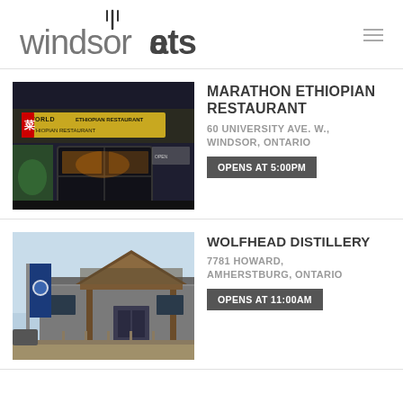windsoréats
[Figure (photo): Exterior photo of Marathon Ethiopian Restaurant showing signage reading 'World Ethiopian Restaurant' with dark storefront and windows]
MARATHON ETHIOPIAN RESTAURANT
60 UNIVERSITY AVE. W., WINDSOR, ONTARIO
OPENS AT 5:00PM
[Figure (photo): Exterior photo of Wolfhead Distillery showing a timber-frame entrance canopy, banner flags, and grey metal building under blue sky]
WOLFHEAD DISTILLERY
7781 HOWARD, AMHERSTBURG, ONTARIO
OPENS AT 11:00AM